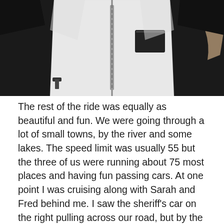[Figure (photo): A white and black motorcycle jacket or riding gear being held up, showing the front with a zipper and pockets. The background shows a concrete surface. The item is primarily white with black side panels.]
The rest of the ride was equally as beautiful and fun. We were going through a lot of small towns, by the river and some lakes. The speed limit was usually 55 but the three of us were running about 75 most places and having fun passing cars. At one point I was cruising along with Sarah and Fred behind me. I saw the sheriff's car on the right pulling across our road, but by the time I realized I was doing 75 in the 55 he was pulling out right in front of us, across our lane and heading in the opposite direction. I am